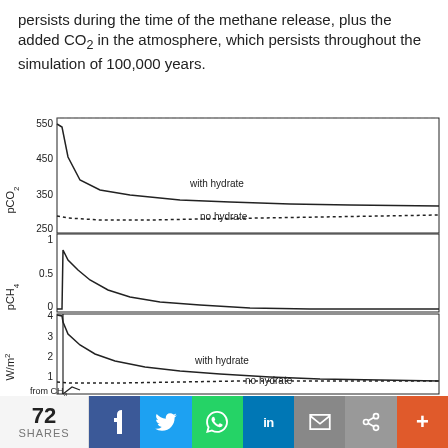persists during the time of the methane release, plus the added CO₂ in the atmosphere, which persists throughout the simulation of 100,000 years.
[Figure (continuous-plot): Three stacked line plots. Top: pCO2 vs time, showing 'with hydrate' (solid line, peaks ~530 then settles ~355) and 'no hydrate' (dotted line, stays ~300-320). Y-axis 250-550. Middle: pCH4 vs time, single solid curve peaking ~0.85 then decaying to 0. Y-axis 0-1. Bottom: W/m2 from CH4 vs time, showing 'with hydrate' (solid, peaks ~3.2 then ~1.0) and 'no hydrate' (dotted, ~0.8). Y-axis 0-4.]
72 SHARES  f  Twitter  WhatsApp  in  Email  Share  +